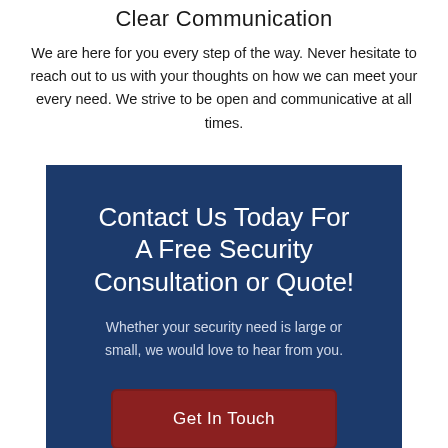Clear Communication
We are here for you every step of the way. Never hesitate to reach out to us with your thoughts on how we can meet your every need. We strive to be open and communicative at all times.
Contact Us Today For A Free Security Consultation or Quote!
Whether your security need is large or small, we would love to hear from you.
Get In Touch